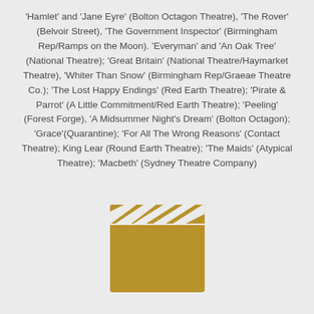'Hamlet' and 'Jane Eyre' (Bolton Octagon Theatre), 'The Rover' (Belvoir Street), 'The Government Inspector' (Birmingham Rep/Ramps on the Moon). 'Everyman' and 'An Oak Tree' (National Theatre); 'Great Britain' (National Theatre/Haymarket Theatre), 'Whiter Than Snow' (Birmingham Rep/Graeae Theatre Co.); 'The Lost Happy Endings' (Red Earth Theatre); 'Pirate & Parrot' (A Little Commitment/Red Earth Theatre); 'Peeling' (Forest Forge), 'A Midsummer Night's Dream' (Bolton Octagon); 'Grace'(Quarantine); 'For All The Wrong Reasons' (Contact Theatre); King Lear (Round Earth Theatre); 'The Maids' (Atypical Theatre); 'Macbeth' (Sydney Theatre Company)
[Figure (illustration): A golden/tan colored film clapperboard icon]
F i l m